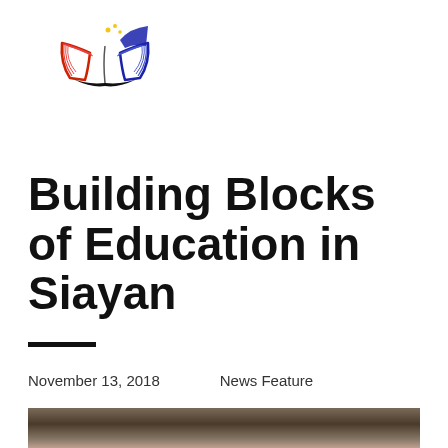[Figure (logo): Open book logo with red and blue colors and yellow accents, resembling pages of a book with a checkmark or bookmark shape]
Building Blocks of Education in Siayan
November 13, 2018    News Feature
[Figure (photo): Partial photo of a person in a white jacket or blazer, cropped showing lower face and upper body]